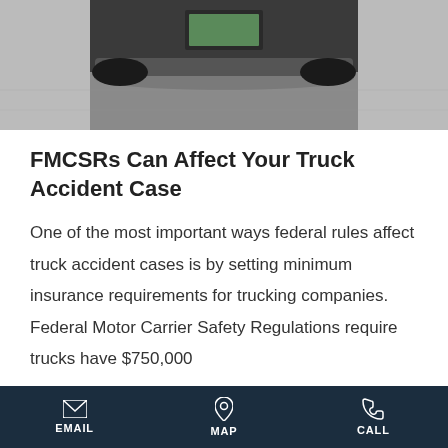[Figure (photo): Bottom/undercarriage view of a vehicle on asphalt parking lot, showing rear bumper, license plate area, and pavement.]
FMCSRs Can Affect Your Truck Accident Case
One of the most important ways federal rules affect truck accident cases is by setting minimum insurance requirements for trucking companies.  Federal Motor Carrier Safety Regulations require trucks have $750,000
EMAIL   MAP   CALL